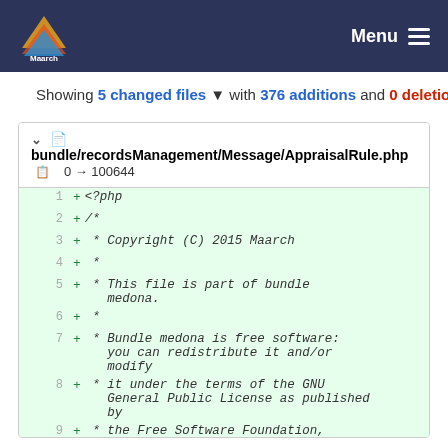Maarch Menu
Showing 5 changed files with 376 additions and 0 deletions
bundle/recordsManagement/Message/AppraisalRule.php  0 → 100644
1  + <?php
2  + /*
3  +  * Copyright (C) 2015 Maarch
4  +  *
5  +  * This file is part of bundle medona.
6  +  *
7  +  * Bundle medona is free software: you can redistribute it and/or modify
8  +  * it under the terms of the GNU General Public License as published by
9  +  * the Free Software Foundation,